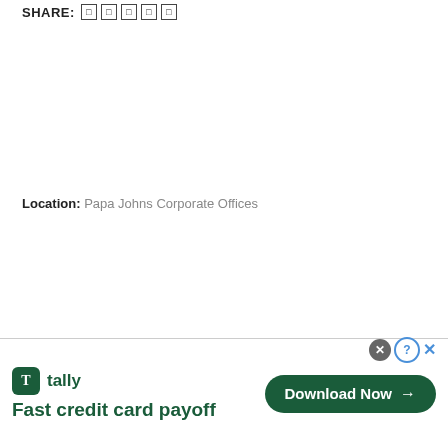SHARE: □ □ □ □ □
Location: Papa Johns Corporate Offices
[Figure (other): Tally advertisement banner: logo with dark green square icon and 'tally' text, tagline 'Fast credit card payoff', and 'Download Now' button with arrow. Close/help icons in top right.]